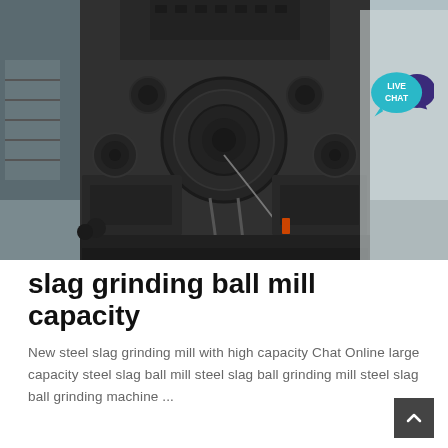[Figure (photo): Industrial grinding mill machinery — large black metal ball mill equipment photographed from below/side angle inside an industrial facility. A 'LIVE CHAT' speech bubble badge appears in the upper right corner of the image.]
slag grinding ball mill capacity
New steel slag grinding mill with high capacity Chat Online large capacity steel slag ball mill steel slag ball grinding mill steel slag ball grinding machine ...